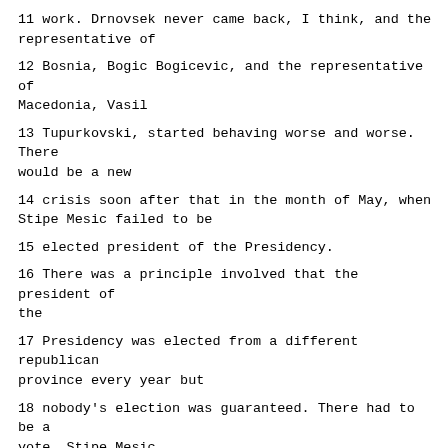11 work. Drnovsek never came back, I think, and the representative of
12 Bosnia, Bogic Bogicevic, and the representative of Macedonia, Vasil
13 Tupurkovski, started behaving worse and worse. There would be a new
14 crisis soon after that in the month of May, when Stipe Mesic failed to be
15 elected president of the Presidency.
16 There was a principle involved that the president of the
17 Presidency was elected from a different republican province every year but
18 nobody's election was guaranteed. There had to be a vote. Stipe Mesic
19 did not enjoy the confidence of the Presidency, and then Western European
20 envoys came and exerted great pressure on the members of the Presidency to
21 elect him nevertheless.